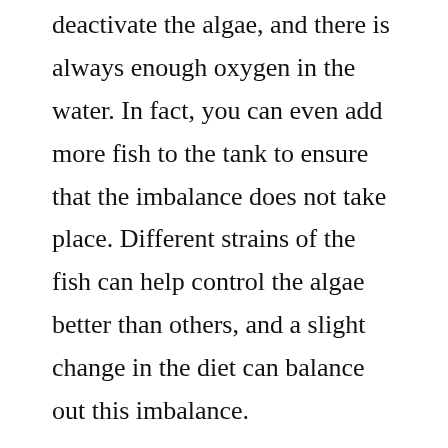deactivate the algae, and there is always enough oxygen in the water. In fact, you can even add more fish to the tank to ensure that the imbalance does not take place. Different strains of the fish can help control the algae better than others, and a slight change in the diet can balance out this imbalance.
If you feed your pet with fish food, make sure you read the labels very well. Some fish oils are not suitable for your pets. Some are low in fatty acids, which are essential for the health